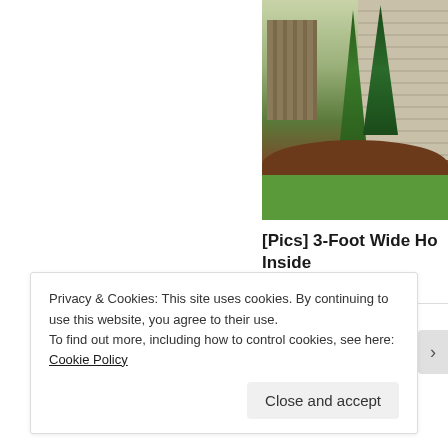[Figure (photo): Garden photo showing house siding, evergreen trees, shrubs, mulch bed with teal pot, and green lawn]
[Pics] 3-Foot Wide Ho... Inside
BuzzFond
Share this:
Twitter
Facebook
Loading...
Privacy & Cookies: This site uses cookies. By continuing to use this website, you agree to their use.
To find out more, including how to control cookies, see here: Cookie Policy
Close and accept